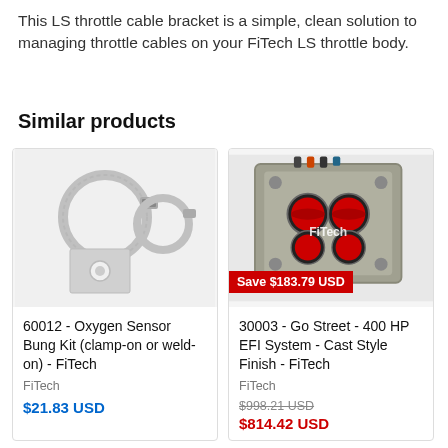This LS throttle cable bracket is a simple, clean solution to managing throttle cables on your FiTech LS throttle body.
Similar products
[Figure (photo): Oxygen sensor bung kit with clamp rings and flat mounting plate]
60012 - Oxygen Sensor Bung Kit (clamp-on or weld-on) - FiTech
FiTech
$21.83 USD
[Figure (photo): FiTech Go Street 400 HP EFI system with cast style finish showing throttle body with red butterflies]
Save $183.79 USD
30003 - Go Street - 400 HP EFI System - Cast Style Finish - FiTech
FiTech
$998.21 USD
$814.42 USD